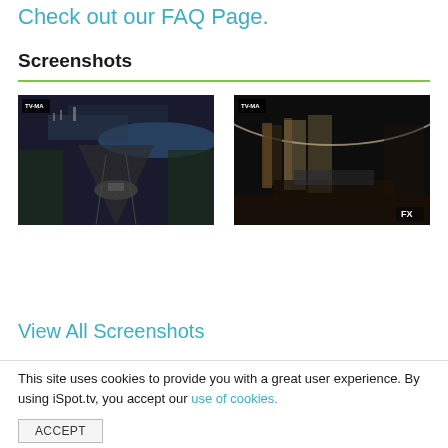Check out our FAQ Page.
Screenshots
[Figure (screenshot): Aerial view of Washington D.C. showing the National Mall, Lincoln Memorial, and a river in the background. Dark/night tone. TV-MA rating bug visible top-left.]
[Figure (screenshot): Interior shot of what appears to be the Oval Office, dark lighting with large windows and curtains visible. FX network logo bottom-right. TV-MA rating bug visible top-left.]
View All Screenshots
This site uses cookies to provide you with a great user experience. By using iSpot.tv, you accept our use of cookies.
ACCEPT